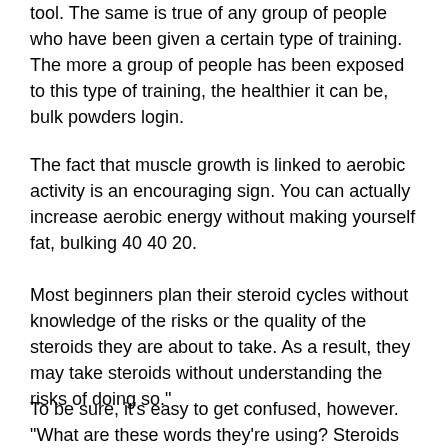tool. The same is true of any group of people who have been given a certain type of training. The more a group of people has been exposed to this type of training, the healthier it can be, bulk powders login.
The fact that muscle growth is linked to aerobic activity is an encouraging sign. You can actually increase aerobic energy without making yourself fat, bulking 40 40 20.
Most beginners plan their steroid cycles without knowledge of the risks or the quality of the steroids they are about to take. As a result, they may take steroids without understanding the risks of doing so."
To be sure, it's easy to get confused, however. "What are these words they're using? Steroids do not have the same effect on muscle structure as do human growth hormone."